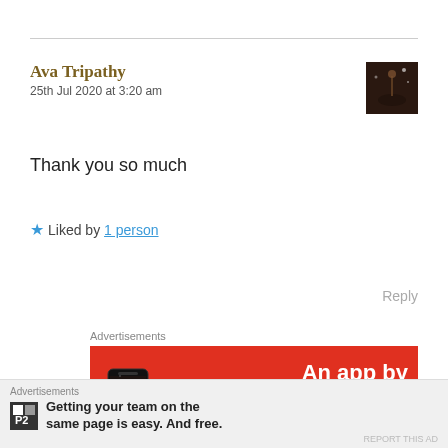Ava Tripathy
25th Jul 2020 at 3:20 am
[Figure (photo): Small square avatar photo showing a dark silhouette figure against a night sky background]
Thank you so much
★ Liked by 1 person
Reply
Advertisements
[Figure (photo): Red advertisement banner showing a smartphone with the text 'An app by listeners, for listeners']
Advertisements
Getting your team on the same page is easy. And free.